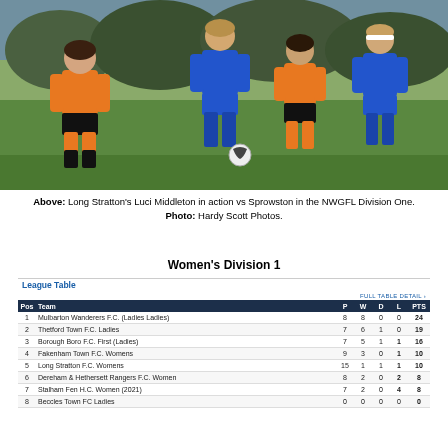[Figure (photo): Women's football match: players in blue kit (Long Stratton) vs players in orange kit (Sprowston) on a grass pitch. Action shot mid-game with multiple players running and a ball visible.]
Above: Long Stratton's Luci Middleton in action vs Sprowston in the NWGFL Division One. Photo: Hardy Scott Photos.
Women's Division 1
| Pos | Team | P | W | D | L | PTS |
| --- | --- | --- | --- | --- | --- | --- |
| 1 | Mulbarton Wanderers F.C. (Ladies Ladies) | 8 | 8 | 0 | 0 | 24 |
| 2 | Thetford Town F.C. Ladies | 7 | 6 | 1 | 0 | 19 |
| 3 | Borough Boro F.C. First (Ladies) | 7 | 5 | 1 | 1 | 16 |
| 4 | Fakenham Town F.C. Womens | 9 | 3 | 0 | 1 | 10 |
| 5 | Long Stratton F.C. Womens | 15 | 1 | 1 | 1 | 10 |
| 6 | Dereham & Hethersett Rangers F.C. Women | 8 | 2 | 0 | 2 | 8 |
| 7 | Stalham Fen H.C. Women (2021) | 7 | 2 | 0 | 4 | 8 |
| 8 | Beccles Town FC Ladies | 0 | 0 | 0 | 0 | 0 |